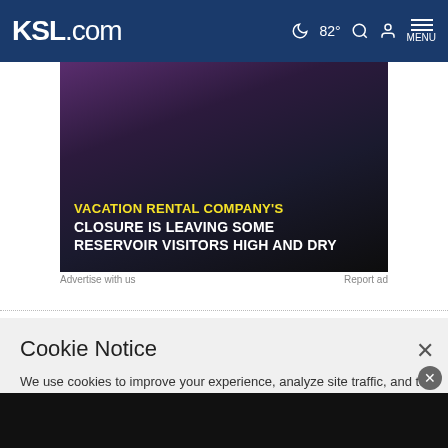KSL.com  82°  MENU
[Figure (screenshot): Advertisement image with dark purple/black background showing text overlay: 'VACATION RENTAL COMPANY'S CLOSURE IS LEAVING SOME RESERVOIR VISITORS HIGH AND DRY']
Advertise with us   Report ad
Cookie Notice
We use cookies to improve your experience, analyze site traffic, and to personalize content and ads. By continuing to use our site, you consent to our use of cookies. Please visit our Terms of Use and Privacy Policy for more information